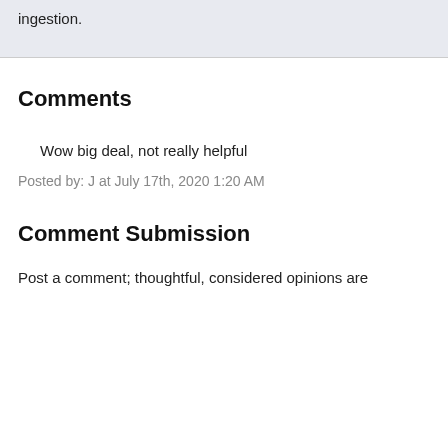ingestion.
Comments
Wow big deal, not really helpful
Posted by: J at July 17th, 2020 1:20 AM
Comment Submission
Post a comment; thoughtful, considered opinions are